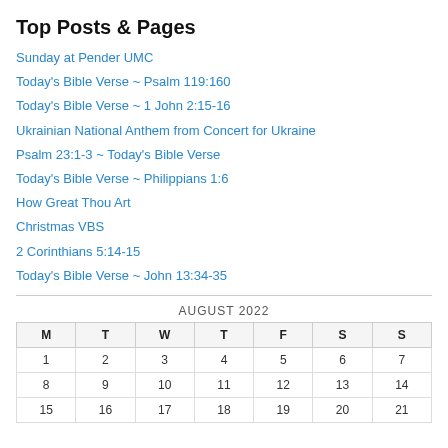Top Posts & Pages
Sunday at Pender UMC
Today's Bible Verse ~ Psalm 119:160
Today's Bible Verse ~ 1 John 2:15-16
Ukrainian National Anthem from Concert for Ukraine
Psalm 23:1-3 ~ Today's Bible Verse
Today's Bible Verse ~ Philippians 1:6
How Great Thou Art
Christmas VBS
2 Corinthians 5:14-15
Today's Bible Verse ~ John 13:34-35
| M | T | W | T | F | S | S |
| --- | --- | --- | --- | --- | --- | --- |
| 1 | 2 | 3 | 4 | 5 | 6 | 7 |
| 8 | 9 | 10 | 11 | 12 | 13 | 14 |
| 15 | 16 | 17 | 18 | 19 | 20 | 21 |